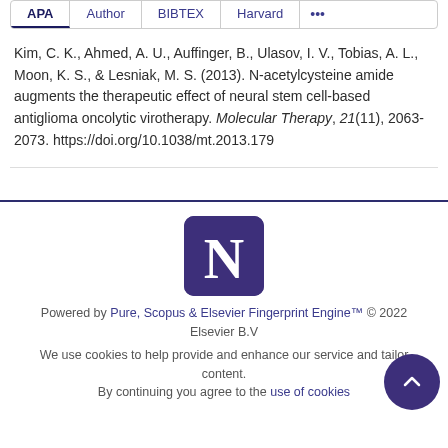APA | Author | BIBTEX | Harvard | ...
Kim, C. K., Ahmed, A. U., Auffinger, B., Ulasov, I. V., Tobias, A. L., Moon, K. S., & Lesniak, M. S. (2013). N-acetylcysteine amide augments the therapeutic effect of neural stem cell-based antiglioma oncolytic virotherapy. Molecular Therapy, 21(11), 2063-2073. https://doi.org/10.1038/mt.2013.179
[Figure (logo): Northwestern University logo — letter N in white on dark purple rounded square background]
Powered by Pure, Scopus & Elsevier Fingerprint Engine™ © 2022 Elsevier B.V
We use cookies to help provide and enhance our service and tailor content. By continuing you agree to the use of cookies